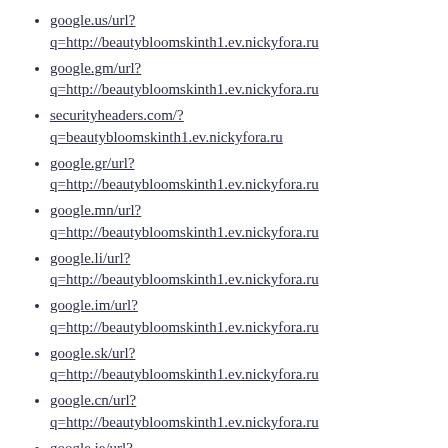google.us/url?
q=http://beautybloomskinth1.ev.nickyfora.ru
google.gm/url?
q=http://beautybloomskinth1.ev.nickyfora.ru
securityheaders.com/?
q=beautybloomskinth1.ev.nickyfora.ru
google.gr/url?
q=http://beautybloomskinth1.ev.nickyfora.ru
google.mn/url?
q=http://beautybloomskinth1.ev.nickyfora.ru
google.li/url?
q=http://beautybloomskinth1.ev.nickyfora.ru
google.im/url?
q=http://beautybloomskinth1.ev.nickyfora.ru
google.sk/url?
q=http://beautybloomskinth1.ev.nickyfora.ru
google.cn/url?
q=http://beautybloomskinth1.ev.nickyfora.ru
google.je/url?